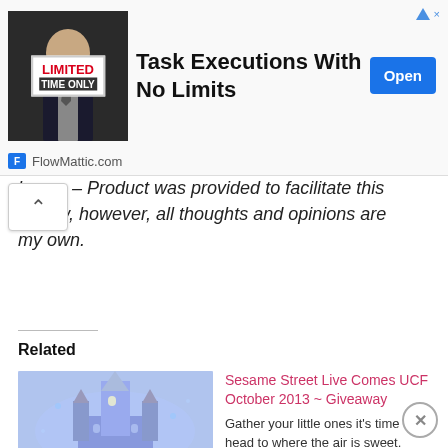[Figure (screenshot): Advertisement banner: image of man in suit holding a sign that reads 'LIMITED TIME ONLY', with headline 'Task Executions With No Limits', a blue 'Open' button, and FlowMattic.com branding at the bottom with a blue square logo.]
losure – Product was provided to facilitate this review, however, all thoughts and opinions are my own.
Related
[Figure (photo): Photo of an illuminated Disney castle with blue and purple lights, likely representing Mickey's Very Merry Christmas Party.]
New Holiday Ride Overlays At Mickey's Very Merry Christmas Party
Sesame Street Live Comes UCF October 2013 ~ Giveaway
Gather your little ones it's time to head to where the air is sweet. That's right Sesame Street Live is coming to Orlando, and